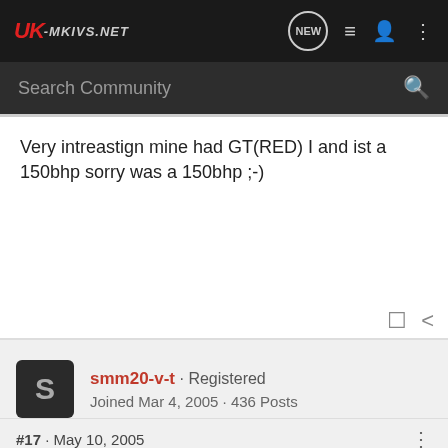UK-MKVS.NET
Search Community
Very intreastign mine had GT(RED) I and ist a 150bhp sorry was a 150bhp ;-)
smm20-v-t · Registered
Joined Mar 4, 2005 · 436 Posts
#17 · May 10, 2005